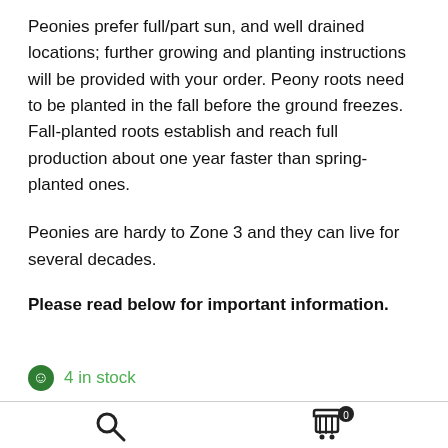Peonies prefer full/part sun, and well drained locations; further growing and planting instructions will be provided with your order. Peony roots need to be planted in the fall before the ground freezes. Fall-planted roots establish and reach full production about one year faster than spring-planted ones.
Peonies are hardy to Zone 3 and they can live for several decades.
Please read below for important information.
4 in stock